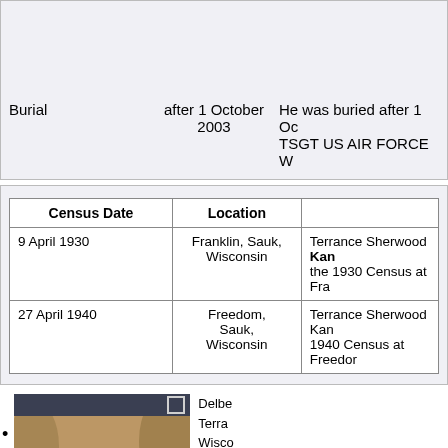|  | after 1 October 2003 | He was buried after 1 Oc... TSGT US AIR FORCE W... |
| --- | --- | --- |
| Burial | after 1 October 2003 | He was buried after 1 Oc... TSGT US AIR FORCE W... |
| Census Date | Location |  |
| --- | --- | --- |
| 9 April 1930 | Franklin, Sauk, Wisconsin | Terrance Sherwood Kan... the 1930 Census at Fra... |
| 27 April 1940 | Freedom, Sauk, Wisconsin | Terrance Sherwood Kan... 1940 Census at Freedo... |
[Figure (photo): Sepia-toned historical photograph of three children/young people outdoors, with dark header bar at top. Part of a genealogy record entry.]
Delbe... Terra... Wisco... At Bro... Circa Berna... Circa...